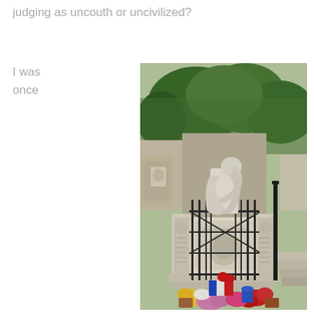judging as uncouth or uncivilized?
I was
once
[Figure (photo): A flower-covered ornate cemetery tomb monument with a white marble weeping figure sculpture on top, surrounded by lush green trees and black iron gates with many colorful flower arrangements at the base. Appears to be Chopin's grave at Père Lachaise cemetery in Paris.]